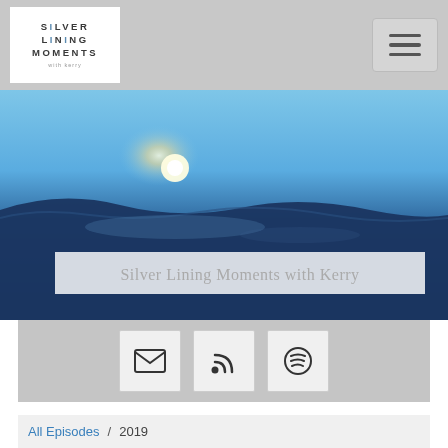[Figure (logo): Silver Lining Moments logo in white box on grey nav bar]
[Figure (photo): Hero banner image: sky with clouds and sun, dark blue tones. Text overlay: 'Silver Lining Moments with Kerry']
[Figure (infographic): Grey band with three icon buttons: envelope, RSS feed, and Spotify]
All Episodes / 2019
A moment of REFLECTION is lined by LOVE
SILVER LINING MOMENTS WITH KERRY
A moment of REFLECTION is lined by LOVE